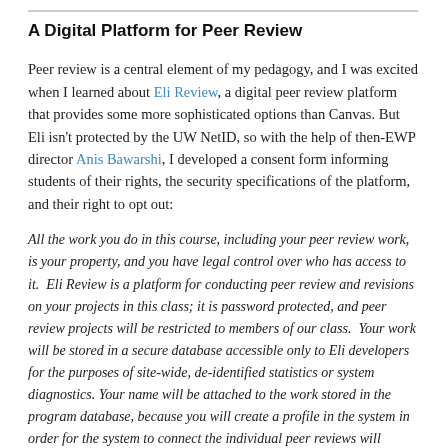A Digital Platform for Peer Review
Peer review is a central element of my pedagogy, and I was excited when I learned about Eli Review, a digital peer review platform that provides some more sophisticated options than Canvas. But Eli isn't protected by the UW NetID, so with the help of then-EWP director Anis Bawarshi, I developed a consent form informing students of their rights, the security specifications of the platform, and their right to opt out:
All the work you do in this course, including your peer review work, is your property, and you have legal control over who has access to it.  Eli Review is a platform for conducting peer review and revisions on your projects in this class; it is password protected, and peer review projects will be restricted to members of our class.  Your work will be stored in a secure database accessible only to Eli developers for the purposes of site-wide, de-identified statistics or system diagnostics. Your name will be attached to the work stored in the program database, because you will create a profile in the system in order for the system to connect the individual peer reviews will